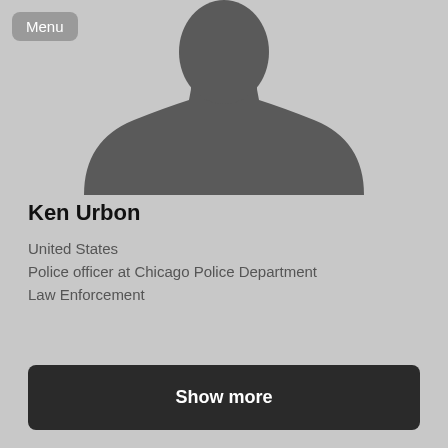[Figure (illustration): Silhouette of a person (head and shoulders) on a light grey background — generic placeholder profile photo]
Menu
Ken Urbon
United States
Police officer at Chicago Police Department
Law Enforcement
Show more